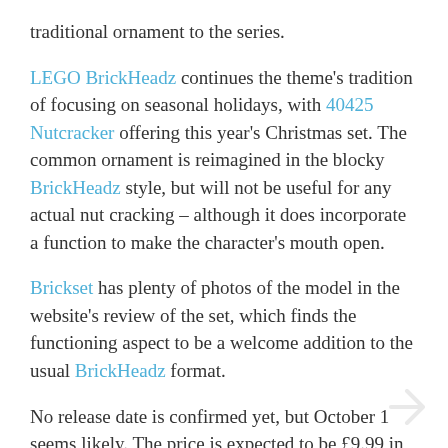traditional ornament to the series.
LEGO BrickHeadz continues the theme's tradition of focusing on seasonal holidays, with 40425 Nutcracker offering this year's Christmas set. The common ornament is reimagined in the blocky BrickHeadz style, but will not be useful for any actual nut cracking – although it does incorporate a function to make the character's mouth open.
Brickset has plenty of photos of the model in the website's review of the set, which finds the functioning aspect to be a welcome addition to the usual BrickHeadz format.
No release date is confirmed yet, but October 1 seems likely. The price is expected to be £9.99 in the UK and $9.99 in the USA.